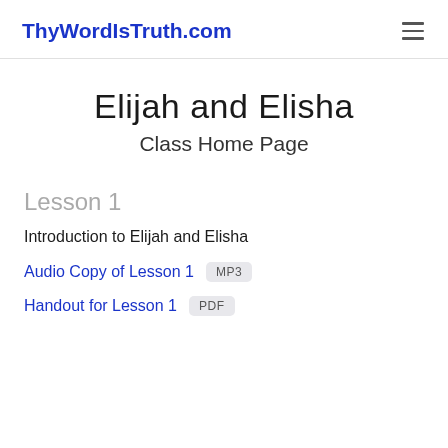ThyWordIsTruth.com
Elijah and Elisha
Class Home Page
Lesson 1
Introduction to Elijah and Elisha
Audio Copy of Lesson 1  MP3
Handout for Lesson 1  PDF